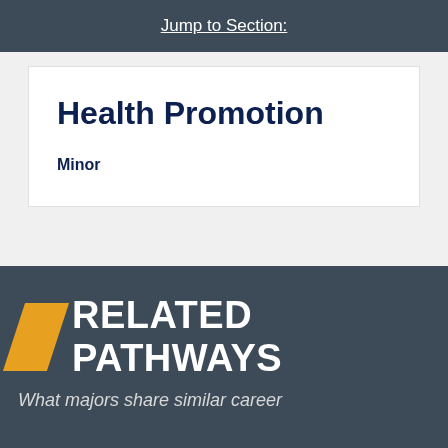Jump to Section:
Health Promotion
Minor
RELATED PATHWAYS
What majors share similar career